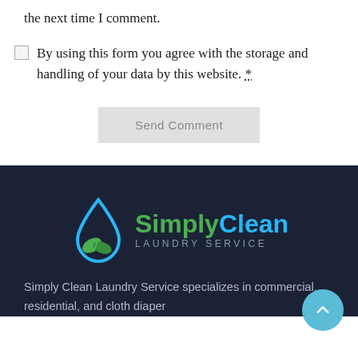the next time I comment.
By using this form you agree with the storage and handling of your data by this website. *
Send Comment
[Figure (logo): SimplyClean Laundry Service logo with a blue water drop and green leaf icon]
Simply Clean Laundry Service specializes in commercial, residential, and cloth diaper